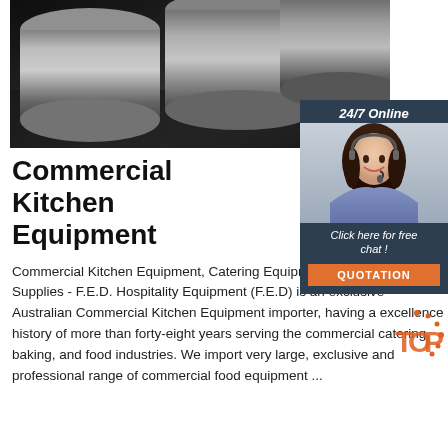[Figure (photo): Black and white photo of stainless steel cylindrical rods/rollers on a dark surface]
[Figure (photo): Online chat widget with '24/7 Online' header, smiling woman with headset, 'Click here for free chat!' text, and orange QUOTATION button]
Commercial Kitchen Equipment
Commercial Kitchen Equipment, Catering Equipment & Hospitality Supplies - F.E.D. Hospitality Equipment (F.E.D) is an exclusive Australian Commercial Kitchen Equipment importer, having a excellence history of more than forty-eight years serving the commercial catering, baking, and food industries. We import very large, exclusive and professional range of commercial food equipment ...
[Figure (logo): TOP badge logo with orange dots around text]